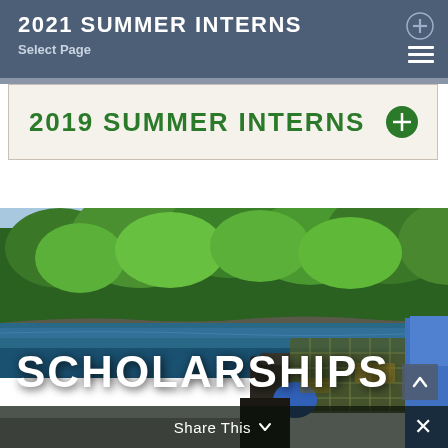2021 SUMMER INTERNS
Select Page
2019 SUMMER INTERNS
[Figure (photo): Outdoor waterfront photo showing a lobster trap/cage on a boat in the foreground with blue gloves, calm water, and green trees/forest in the background on a sunny day.]
SCHOLARSHIPS
Share This